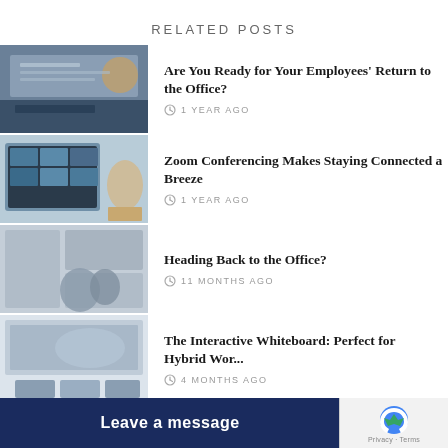RELATED POSTS
Are You Ready for Your Employees' Return to the Office? | 1 YEAR AGO
Zoom Conferencing Makes Staying Connected a Breeze | 1 YEAR AGO
Heading Back to the Office? | 11 MONTHS AGO
The Interactive Whiteboard: Perfect for Hybrid Wor... | 4 MONTHS AGO
Leave a message